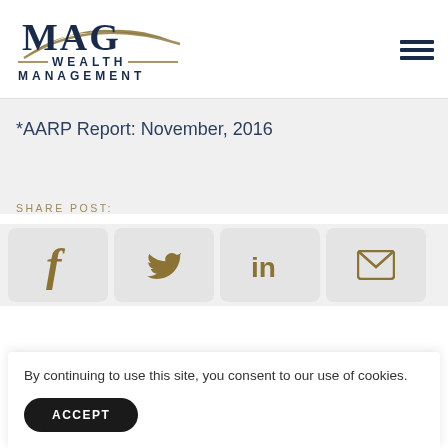[Figure (logo): MAG Wealth Management logo with dark navy text and gold arc/swoosh design element]
*AARP Report: November, 2016
SHARE POST:
[Figure (infographic): Social sharing icons: Facebook (f), Twitter (bird), LinkedIn (in), Email (envelope)]
By continuing to use this site, you consent to our use of cookies.